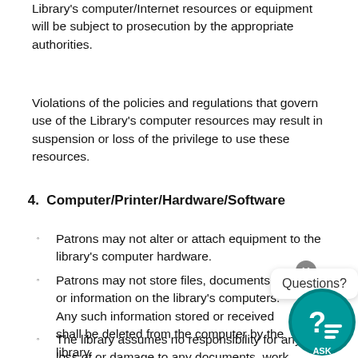Library's computer/Internet resources or equipment will be subject to prosecution by the appropriate authorities.
Violations of the policies and regulations that govern use of the Library's computer resources may result in suspension or loss of the privilege to use these resources.
4.  Computer/Printer/Hardware/Software
Patrons may not alter or attach equipment to the library's computer hardware.
Patrons may not store files, documents, or information on the library's computers. Any such information stored or received shall be deleted from the computer by the library.
The library assumes no responsibility for any loss of or damage to any documents, work product, files or disks as a result of the use of